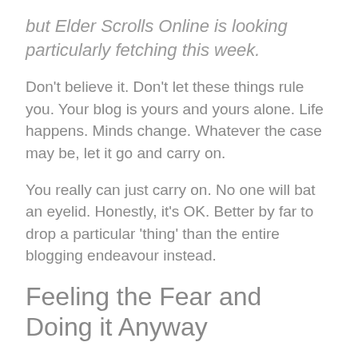but Elder Scrolls Online is looking particularly fetching this week.
Don't believe it. Don't let these things rule you. Your blog is yours and yours alone. Life happens. Minds change. Whatever the case may be, let it go and carry on.
You really can just carry on. No one will bat an eyelid. Honestly, it's OK. Better by far to drop a particular 'thing' than the entire blogging endeavour instead.
Feeling the Fear and Doing it Anyway
One of our new bloggers from this Blaugust